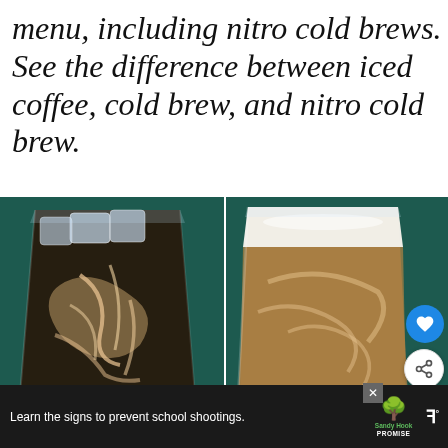menu, including nitro cold brews. See the difference between iced coffee, cold brew, and nitro cold brew.
[Figure (photo): Two coffee drinks side by side on a dark teal/green background. Left: iced coffee with cream swirling through dark coffee and ice. Right: a cold brew or nitro cold brew in a tall glass with a creamy white foam top and light brown coffee below. Two UI buttons (heart/favorite and share) are visible on the right side.]
Learn the signs to prevent school shootings.   Sandy Hook PROMISE   [weather icon]